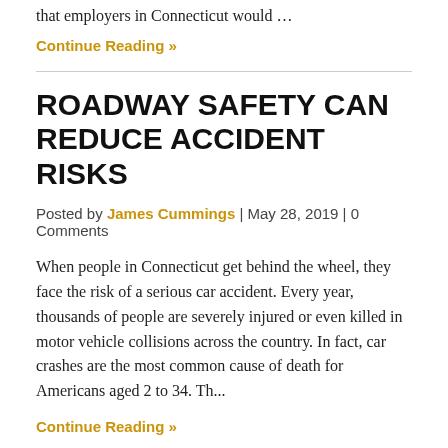that employers in Connecticut would …
Continue Reading »
ROADWAY SAFETY CAN REDUCE ACCIDENT RISKS
Posted by James Cummings | May 28, 2019 | 0 Comments
When people in Connecticut get behind the wheel, they face the risk of a serious car accident. Every year, thousands of people are severely injured or even killed in motor vehicle collisions across the country. In fact, car crashes are the most common cause of death for Americans aged 2 to 34. Th...
Continue Reading »
1 of 8 ›